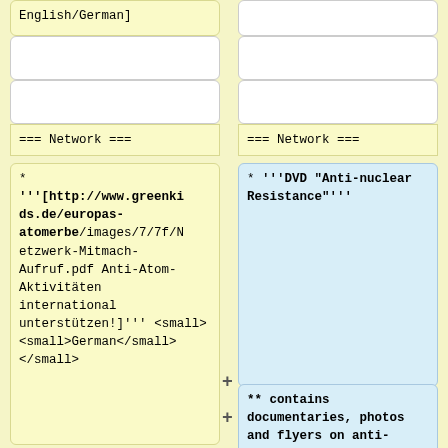English/German]
=== Network ===
=== Network ===
* '''[http://www.greenkids.de/europas-atomerbe/images/7/7f/Netzwerk-Mitmach-Aufruf.pdf Anti-Atom-Aktivitäten international unterstützen!]''' <small> <small>German</small> </small>
* '''DVD "Anti-nuclear Resistance"'''
** contains documentaries, photos and flyers on anti-